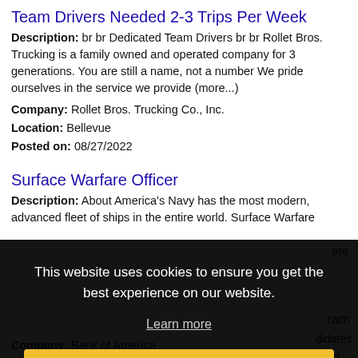Team Drivers Needed 2-3 Trips Per Week
Description: br br Dedicated Team Drivers br br Rollet Bros. Trucking is a family owned and operated company for 3 generations. You are still a name, not a number We pride ourselves in the service we provide (more...)
Company: Rollet Bros. Trucking Co., Inc.
Location: Bellevue
Posted on: 08/27/2022
Surface Warfare Officer
Description: About America's Navy has the most modern, advanced fleet of ships in the entire world. Surface Warfare
[Figure (screenshot): Cookie consent overlay with black background, text 'This website uses cookies to ensure you get the best experience on our website.', a 'Learn more' link, and a yellow 'Got it!' button.]
Company: Bank of America